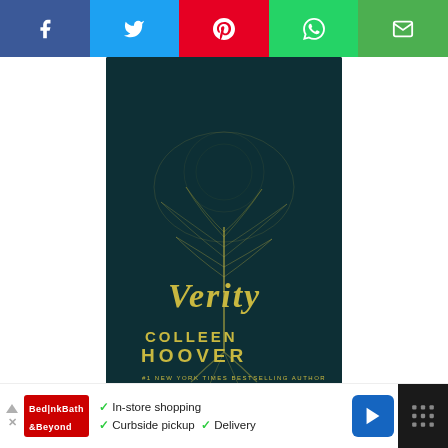[Figure (screenshot): Social media share bar with five colored buttons: Facebook (dark blue), Twitter (light blue), Pinterest (red), WhatsApp (green), Email (green)]
[Figure (photo): Book cover of 'Verity' by Colleen Hoover — dark teal background with glowing gold tree/figure illustration, gold script title 'Verity', gold sans-serif text 'COLLEEN HOOVER', subtitle '#1 NEW YORK TIMES BESTSELLING AUTHOR']
Table of Contents
10 Books like Verity
[Figure (screenshot): Ad banner showing store icon with 'In-store shopping', 'Curbside pickup', 'Delivery' checkmarks, navigation arrow icon, and channel icon on right]